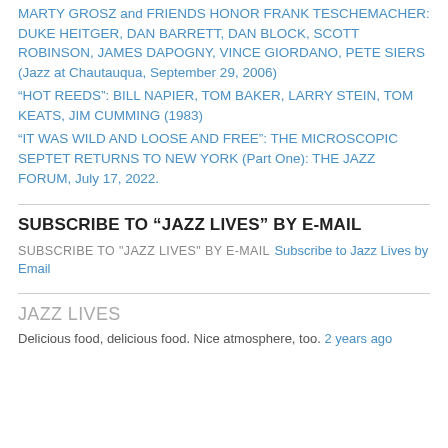MARTY GROSZ and FRIENDS HONOR FRANK TESCHEMACHER: DUKE HEITGER, DAN BARRETT, DAN BLOCK, SCOTT ROBINSON, JAMES DAPOGNY, VINCE GIORDANO, PETE SIERS (Jazz at Chautauqua, September 29, 2006)
“HOT REEDS”: BILL NAPIER, TOM BAKER, LARRY STEIN, TOM KEATS, JIM CUMMING (1983)
“IT WAS WILD AND LOOSE AND FREE”: THE MICROSCOPIC SEPTET RETURNS TO NEW YORK (Part One): THE JAZZ FORUM, July 17, 2022.
SUBSCRIBE TO “JAZZ LIVES” BY E-MAIL
SUBSCRIBE TO "JAZZ LIVES" BY E-MAIL Subscribe to Jazz Lives by Email
JAZZ LIVES
Delicious food, delicious food. Nice atmosphere, too. 2 years ago